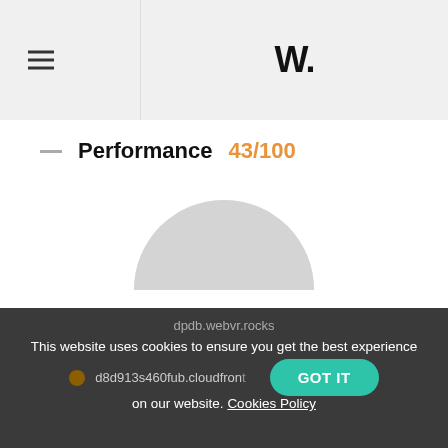W.
Performance 43/100
[Figure (other): Gauge chart showing performance score, partially visible arc in light gray]
virtualtour.taltech.ee
maps.googleapis.com
www.google-analytics.com
www.googletagmanager.com
dpdb.webvr.rocks
This website uses cookies to ensure you get the best experience on our website. Cookies Policy GOT IT
d8d913s460fub.cloudfront…